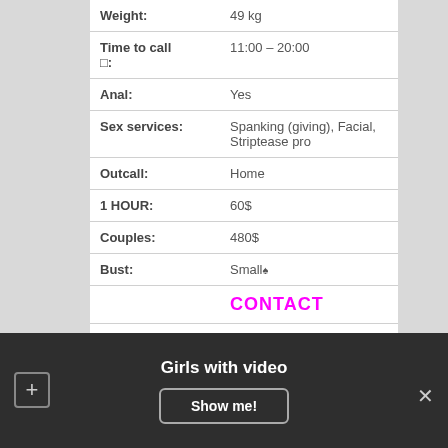| Field | Value |
| --- | --- |
| Weight: | 49 kg |
| Time to call
□: | 11:00 – 20:00 |
| Anal: | Yes |
| Sex services: | Spanking (giving), Facial, Striptease pro |
| Outcall: | Home |
| 1 HOUR: | 60$ |
| Couples: | 480$ |
| Bust: | Small♠ |
|  | CONTACT |
Girls with video
Show me!